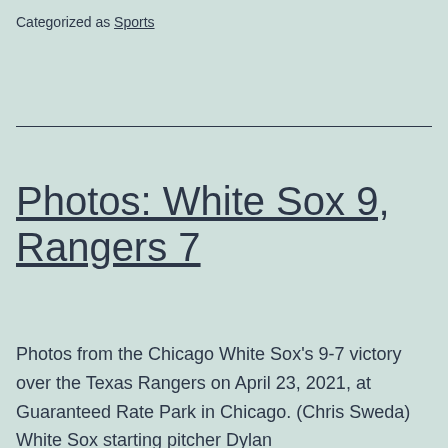Categorized as Sports
Photos: White Sox 9, Rangers 7
Photos from the Chicago White Sox's 9-7 victory over the Texas Rangers on April 23, 2021, at Guaranteed Rate Park in Chicago. (Chris Sweda) White Sox starting pitcher Dylan